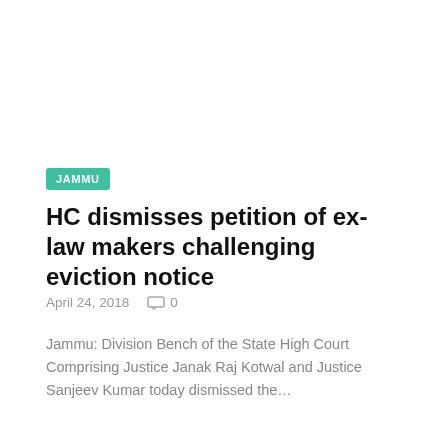JAMMU
HC dismisses petition of ex-law makers challenging eviction notice
April 24, 2018   0
Jammu: Division Bench of the State High Court Comprising Justice Janak Raj Kotwal and Justice Sanjeev Kumar today dismissed the…